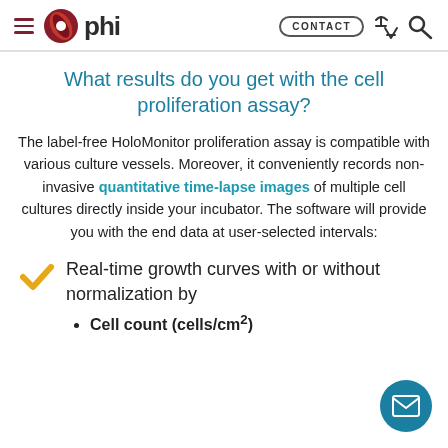phi — CONTACT
What results do you get with the cell proliferation assay?
The label-free HoloMonitor proliferation assay is compatible with various culture vessels. Moreover, it conveniently records non-invasive quantitative time-lapse images of multiple cell cultures directly inside your incubator. The software will provide you with the end data at user-selected intervals:
Real-time growth curves with or without normalization by
Cell count (cells/cm²)